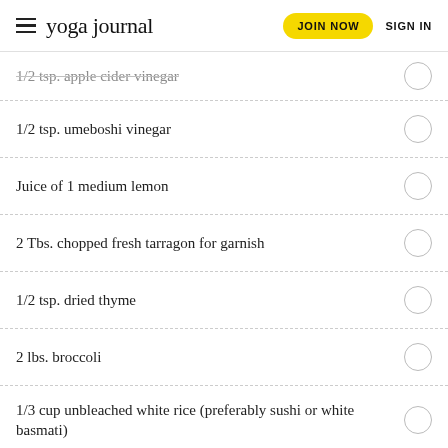yoga journal | JOIN NOW | SIGN IN
1/2 tsp. apple cider vinegar
1/2 tsp. umeboshi vinegar
Juice of 1 medium lemon
2 Tbs. chopped fresh tarragon for garnish
1/2 tsp. dried thyme
2 lbs. broccoli
1/3 cup unbleached white rice (preferably sushi or white basmati)
1 1/2 tsp. sea salt